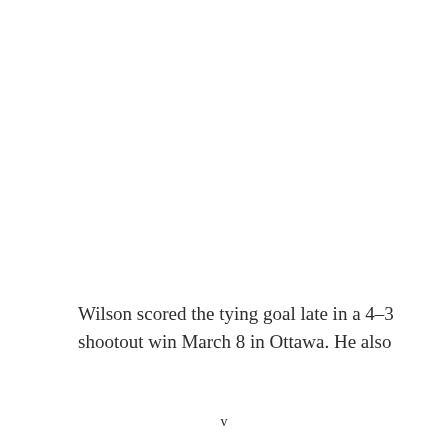Wilson scored the tying goal late in a 4-3 shootout win March 8 in Ottawa. He also
v